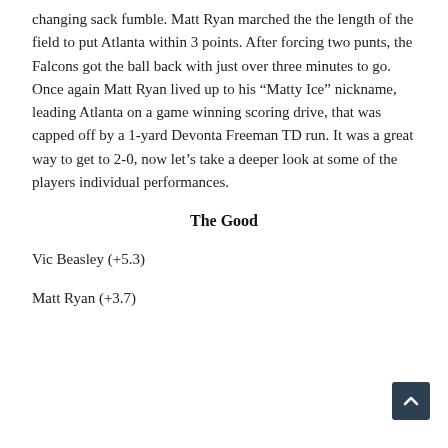changing sack fumble. Matt Ryan marched the the length of the field to put Atlanta within 3 points. After forcing two punts, the Falcons got the ball back with just over three minutes to go. Once again Matt Ryan lived up to his “Matty Ice” nickname, leading Atlanta on a game winning scoring drive, that was capped off by a 1-yard Devonta Freeman TD run. It was a great way to get to 2-0, now let’s take a deeper look at some of the players individual performances.
The Good
Vic Beasley (+5.3)
Matt Ryan (+3.7)